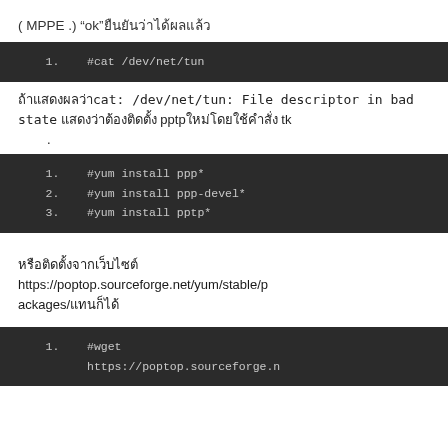(      MPPE                 .)  “ok”ยืนยันว่าได้ผลแล้ว
1.    #cat /dev/net/tun
ถ้าแสดงผลว่า cat: /dev/net/tun: File descriptor in bad state แสดงว่าต้องติดตั้ง pptpใหม่โดยใช้คำสั่ง tk
1.    #yum install ppp*
2.    #yum install ppp-devel*
3.    #yum install pptp*
หรือติดตั้งจากเว็บไซต์ https://poptop.sourceforge.net/yum/stable/packages/แทนก็ได้
1.    #wget https://poptop.sourceforge.n